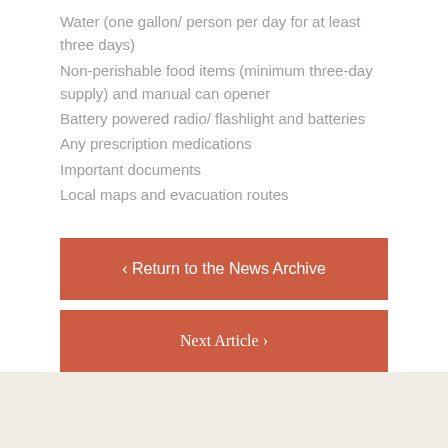Water (one gallon/ person per day for at least three days)
Non-perishable food items (minimum three-day supply) and manual can opener
Battery powered radio/ flashlight and batteries
Any prescription medications
Important documents
Local maps and evacuation routes
‹ Return to the News Archive
Next Article ›
Other Recent News and Events